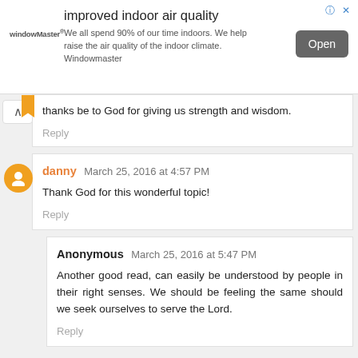[Figure (other): Advertisement banner for Window Master: improved indoor air quality]
thanks be to God for giving us strength and wisdom.
Reply
danny March 25, 2016 at 4:57 PM
Thank God for this wonderful topic!
Reply
Anonymous March 25, 2016 at 5:47 PM
Another good read, can easily be understood by people in their right senses. We should be feeling the same should we seek ourselves to serve the Lord.
Reply